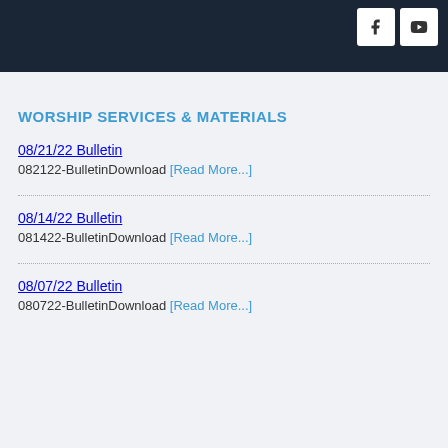[Figure (screenshot): Dark navy top banner with Facebook and YouTube social media button icons in white squares on the right side]
WORSHIP SERVICES & MATERIALS
08/21/22 Bulletin
082122-BulletinDownload [Read More...]
08/14/22 Bulletin
081422-BulletinDownload [Read More...]
08/07/22 Bulletin
080722-BulletinDownload [Read More...]